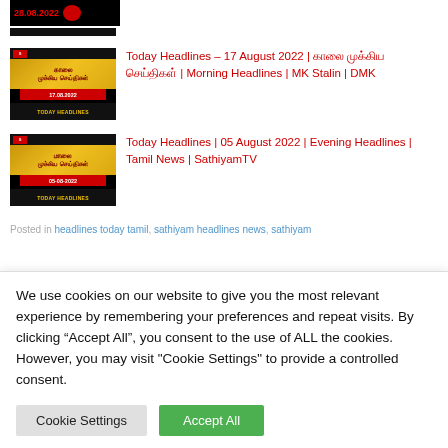[Figure (screenshot): Thumbnail showing 28.08.2022 news headline image with black and gold banner]
Today Headlines – 17 August 2022 | காலை முக்கிய செய்திகள் | Morning Headlines | MK Stalin | DMK
[Figure (screenshot): Thumbnail for 17.08.2022 today headlines with gold/red banner]
Today Headlines | 05 August 2022 | Evening Headlines | Tamil News | SathiyamTV
[Figure (screenshot): Thumbnail for 05-08-2022 today headlines with gold/red banner]
Posted in headlines today tamil, sathiyam headlines news, sathiyam
We use cookies on our website to give you the most relevant experience by remembering your preferences and repeat visits. By clicking "Accept All", you consent to the use of ALL the cookies. However, you may visit "Cookie Settings" to provide a controlled consent.